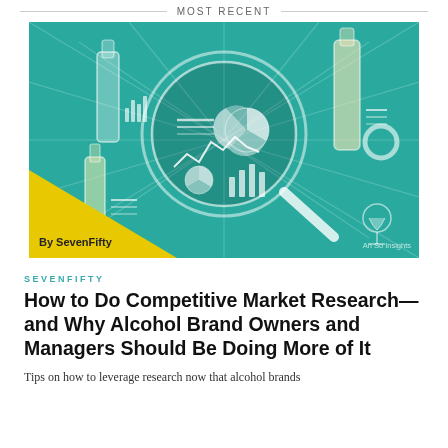MOST RECENT
[Figure (illustration): Teal illustrated graphic showing wine bottles, charts, pie charts, bar graphs and a magnifying glass over analytics imagery. Yellow triangle badge in lower left reads 'By SevenFifty'. Watermark 'Ah So Insights' in lower right.]
SEVENFIFTY
How to Do Competitive Market Research—and Why Alcohol Brand Owners and Managers Should Be Doing More of It
Tips on how to leverage research now that alcohol brands